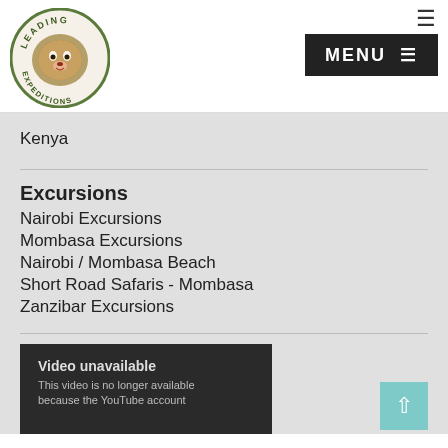[Figure (logo): Leading Expeditions logo with lion image in circular badge]
[Figure (other): Dark hamburger menu icon and MENU bar button in black]
Kenya
Excursions
Nairobi Excursions
Mombasa Excursions
Nairobi / Mombasa Beach
Short Road Safaris - Mombasa
Zanzibar Excursions
[Figure (screenshot): YouTube video unavailable placeholder: 'Video unavailable. This video is no longer available because the YouTube account']